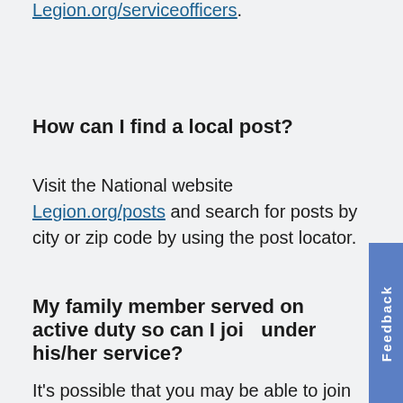Legion.org/serviceofficers.
How can I find a local post?
Visit the National website Legion.org/posts and search for posts by city or zip code by using the post locator.
My family member served on active duty so can I join under his/her service?
It's possible that you may be able to join one of the other organizations in the "Legion Family." The Sons of The American Legion (SAL) is comprised of male descendants, adopted sons and step-sons of American Legion members. (There are no age limitations.) Many posts have